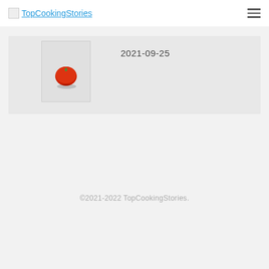TopCookingStories
[Figure (screenshot): Card area with a small image thumbnail of a red tomato icon and a date '2021-09-25']
2021-09-25
©2021-2022 TopCookingStories.